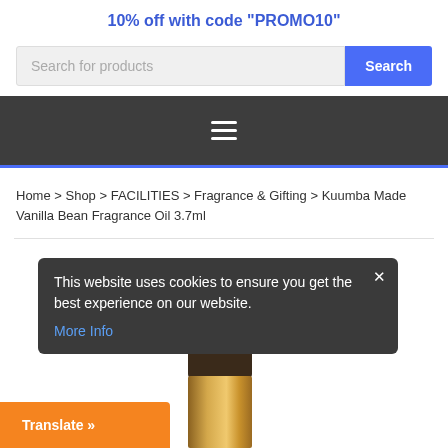10% off with code "PROMO10"
[Figure (screenshot): Search bar with placeholder text 'Search for products' and a blue 'Search' button]
[Figure (screenshot): Dark navigation bar with hamburger menu icon (three horizontal lines)]
Home > Shop > FACILITIES > Fragrance & Gifting > Kuumba Made Vanilla Bean Fragrance Oil 3.7ml
[Figure (screenshot): Cookie consent popup: 'This website uses cookies to ensure you get the best experience on our website. More Info' with close button (x)]
[Figure (photo): Partial product image showing a golden/brown fragrance oil bottle]
[Figure (screenshot): Orange 'Translate »' button at bottom left]